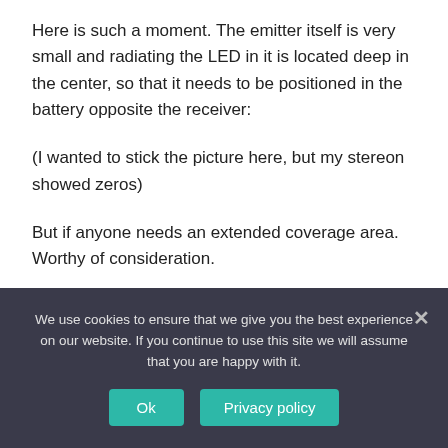Here is such a moment. The emitter itself is very small and radiating the LED in it is located deep in the center, so that it needs to be positioned in the battery opposite the receiver:
(I wanted to stick the picture here, but my stereon showed zeros)
But if anyone needs an extended coverage area. Worthy of consideration.
Small, light, necessary minimum wires.
We use cookies to ensure that we give you the best experience on our website. If you continue to use this site we will assume that you are happy with it.